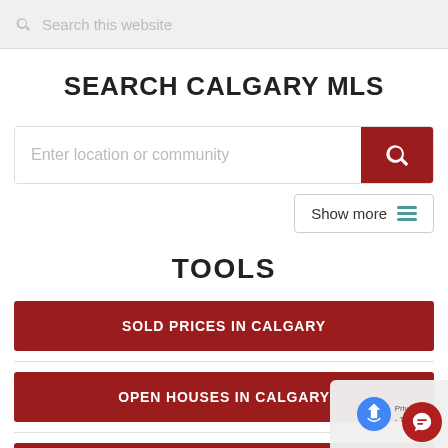Search this website
SEARCH CALGARY MLS
[Figure (screenshot): Search input field with placeholder 'Enter location or community' and a red search button on the right]
Show more
TOOLS
SOLD PRICES IN CALGARY
OPEN HOUSES IN CALGARY
SEARCH CALGARY MLS